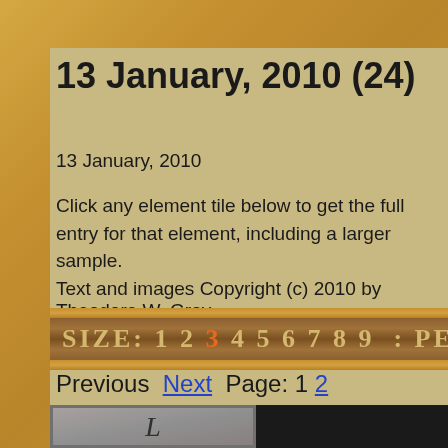13 January, 2010 (24)
13 January, 2010
Click any element tile below to get the full entry for that element, including a larger sample.
Text and images Copyright (c) 2010 by Theodore W. Gray.
[Figure (other): Navigation bar showing SIZE: 1 2 3 4 5 6 7 8 9 : PERIOD with number 3 highlighted in orange]
Previous  Next  Page: 1 2
[Figure (photo): Element tile showing decorative letter L on metallic background, and a dark tile to the right]